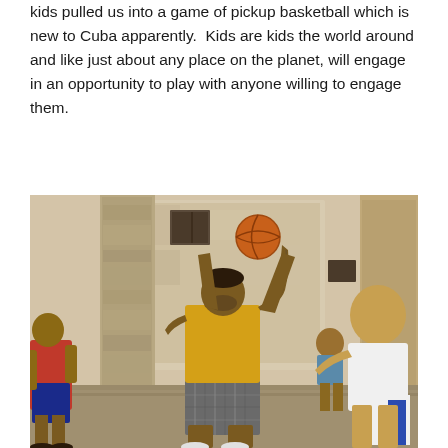kids pulled us into a game of pickup basketball which is new to Cuba apparently.  Kids are kids the world around and like just about any place on the planet, will engage in an opportunity to play with anyone willing to engage them.
[Figure (photo): A man in a yellow t-shirt and plaid shorts with tattoos shoots a basketball in an outdoor street setting with worn, weathered building walls in the background. Several children watch and participate around him — a child in a red shirt on the left, a shirtless child in the background center, and a larger boy in a white shirt on the right.]